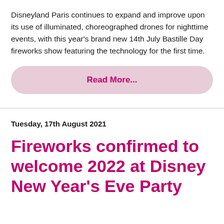Disneyland Paris continues to expand and improve upon its use of illuminated, choreographed drones for nighttime events, with this year's brand new 14th July Bastille Day fireworks show featuring the technology for the first time.
Read More...
Tuesday, 17th August 2021
Fireworks confirmed to welcome 2022 at Disney New Year's Eve Party